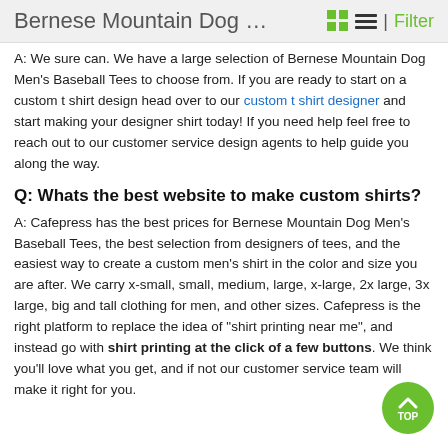Bernese Mountain Dog … | Filter
A: We sure can. We have a large selection of Bernese Mountain Dog Men's Baseball Tees to choose from. If you are ready to start on a custom t shirt design head over to our custom t shirt designer and start making your designer shirt today! If you need help feel free to reach out to our customer service design agents to help guide you along the way.
Q: Whats the best website to make custom shirts?
A: Cafepress has the best prices for Bernese Mountain Dog Men's Baseball Tees, the best selection from designers of tees, and the easiest way to create a custom men's shirt in the color and size you are after. We carry x-small, small, medium, large, x-large, 2x large, 3x large, big and tall clothing for men, and other sizes. Cafepress is the right platform to replace the idea of "shirt printing near me", and instead go with shirt printing at the click of a few buttons. We think you'll love what you get, and if not our customer service team will make it right for you.